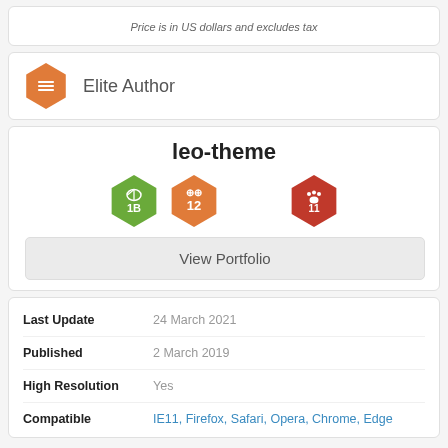Price is in US dollars and excludes tax
Elite Author
leo-theme
[Figure (illustration): Three hexagonal badges: green badge with leaf icon and '1B', orange badge with '12', red badge with paw icon and '11']
View Portfolio
| Last Update | 24 March 2021 |
| Published | 2 March 2019 |
| High Resolution | Yes |
| Compatible | IE11, Firefox, Safari, Opera, Chrome, Edge |